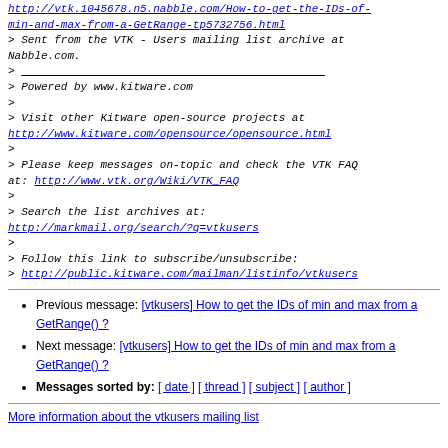http://vtk.1045678.n5.nabble.com/How-to-get-the-IDs-of-min-and-max-from-a-GetRange-tp5732756.html
> Sent from the VTK - Users mailing list archive at Nabble.com.
> ___________________________________________
> Powered by www.kitware.com
>
> Visit other Kitware open-source projects at
http://www.kitware.com/opensource/opensource.html
>
> Please keep messages on-topic and check the VTK FAQ at: http://www.vtk.org/Wiki/VTK_FAQ
>
> Search the list archives at:
http://markmail.org/search/?q=vtkusers
>
> Follow this link to subscribe/unsubscribe:
> http://public.kitware.com/mailman/listinfo/vtkusers
Previous message: [vtkusers] How to get the IDs of min and max from a GetRange() ?
Next message: [vtkusers] How to get the IDs of min and max from a GetRange() ?
Messages sorted by: [ date ] [ thread ] [ subject ] [ author ]
More information about the vtkusers mailing list